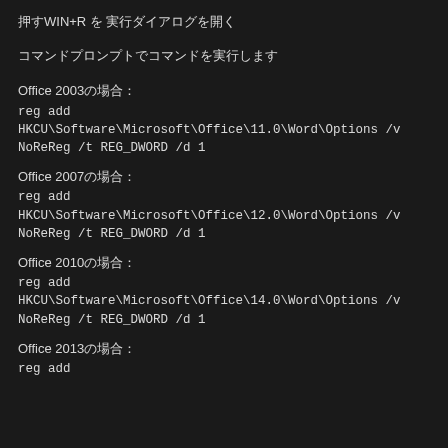押すWIN+R を 実行ダイアログを開く
コマンドプロンプトでコマンドを実行します
Office 2003の場合：
reg add HKCU\Software\Microsoft\Office\11.0\Word\Options /v NoReReg /t REG_DWORD /d 1
Office 2007の場合：
reg add HKCU\Software\Microsoft\Office\12.0\Word\Options /v NoReReg /t REG_DWORD /d 1
Office 2010の場合：
reg add HKCU\Software\Microsoft\Office\14.0\Word\Options /v NoReReg /t REG_DWORD /d 1
Office 2013の場合：
reg add